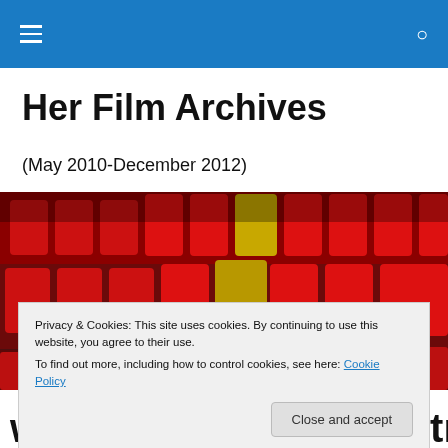Her Film Archives
(May 2010-December 2012)
[Figure (photo): Rows of red cinema seats with one yellow/gold seat standing out among them]
Privacy & Cookies: This site uses cookies. By continuing to use this website, you agree to their use.
To find out more, including how to control cookies, see here: Cookie Policy
with director-writer-actress